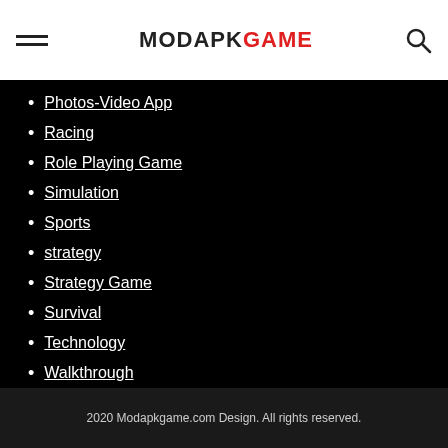MODAPKGAME
Photos-Video App
Racing
Role Playing Game
Simulation
Sports
strategy
Strategy Game
Survival
Technology
Walkthrough
2020 Modapkgame.com Design. All rights reserved.